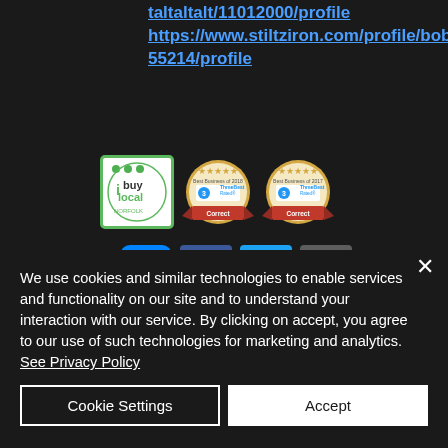https://www.stiltziron.com/profile/bobsheil13455214/profile
[Figure (logo): iBuyLocal Norfolk logo badge and two ThreeBest Rated Best Business badges for 2018 and 2017, with social media icons for Messenger, Facebook, Twitter, and Instagram]
We use cookies and similar technologies to enable services and functionality on our site and to understand your interaction with our service. By clicking on accept, you agree to our use of such technologies for marketing and analytics. See Privacy Policy
Cookie Settings
Accept